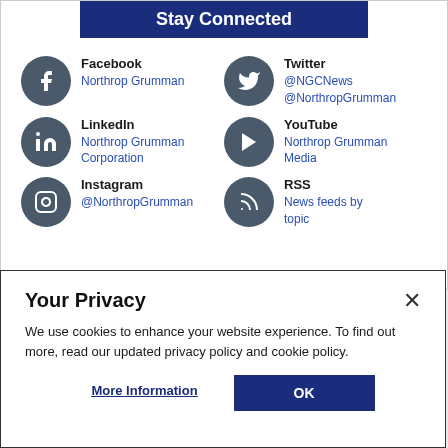Stay Connected
Facebook
Northrop Grumman
Twitter
@NGCNews
@NorthropGrumman
LinkedIn
Northrop Grumman Corporation
YouTube
Northrop Grumman Media
Instagram
@NorthropGrumman
RSS
News feeds by topic
Your Privacy
We use cookies to enhance your website experience. To find out more, read our updated privacy policy and cookie policy.
More Information
OK